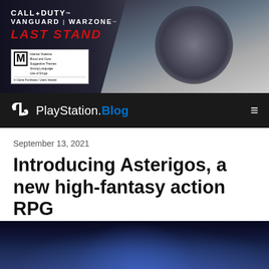[Figure (screenshot): Call of Duty Vanguard Warzone Last Stand promotional banner ad featuring a scarred male character with an eye patch against a dark city background]
PlayStation.Blog
September 13, 2021
Introducing Asterigos, a new high-fantasy action RPG
💬 11  🎤 0  ❤ 137
[Figure (photo): Bottom partial image of Asterigos game art showing a fantasy armored character in blue/dark tones]